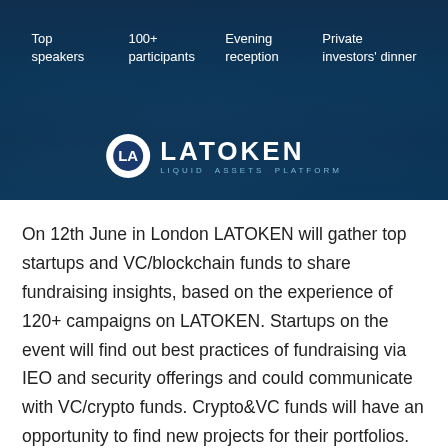[Figure (photo): Dark blue banner with crowd/people in background showing a conference event. Features row with: Top speakers, 100+ participants, Evening reception, Private investors' dinner. LATOKEN logo centered at bottom with circular LA icon.]
On 12th June in London LATOKEN will gather top startups and VC/blockchain funds to share fundraising insights, based on the experience of 120+ campaigns on LATOKEN. Startups on the event will find out best practices of fundraising via IEO and security offerings and could communicate with VC/crypto funds. Crypto&VC funds will have an opportunity to find new projects for their portfolios.
The event will give startups an opportunity to explore